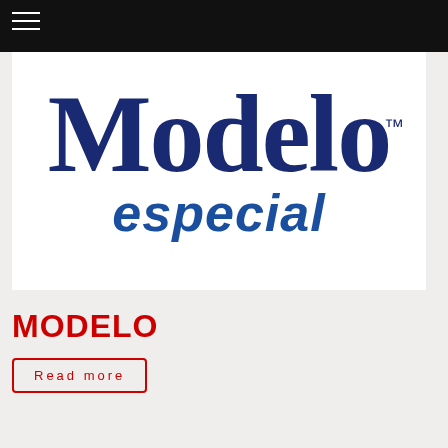[Figure (logo): Modelo Especial logo — 'Modelo' in large dark blue serif letters and 'especial' in blue italic below, with TM mark]
MODELO
Read more